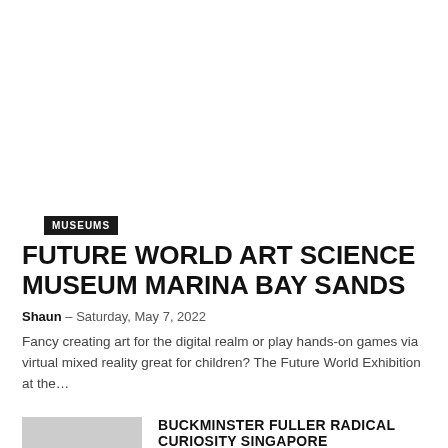MUSEUMS
FUTURE WORLD ART SCIENCE MUSEUM MARINA BAY SANDS
Shaun – Saturday, May 7, 2022
Fancy creating art for the digital realm or play hands-on games via virtual mixed reality great for children? The Future World Exhibition at the…
BUCKMINSTER FULLER RADICAL CURIOSITY SINGAPORE
Sunday, April 24, 2022
NINJA CHIRASHI JAPANESE DONS
Sunday, April 17, 2022